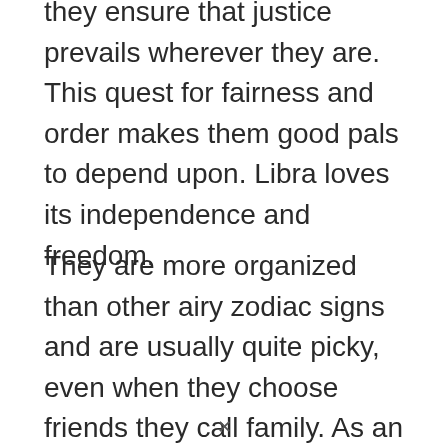they ensure that justice prevails wherever they are. This quest for fairness and order makes them good pals to depend upon. Libra loves its independence and freedom.
They are more organized than other airy zodiac signs and are usually quite picky, even when they choose friends they call family. As an intellectually curious sign, Libra loves gaining
x